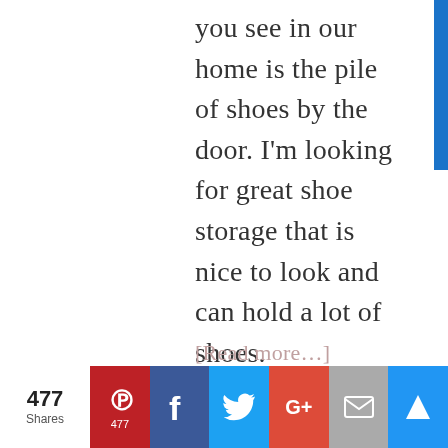you see in our home is the pile of shoes by the door. I'm looking for great shoe storage that is nice to look and can hold a lot of shoes.
[Read more…]
477 Shares | Pinterest 477 | Facebook | Twitter | Google+ | Email | Feedly